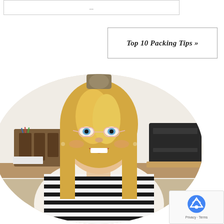Top 10 Packing Tips »
[Figure (photo): A smiling blonde woman wearing glasses and a black-and-white striped shirt, sitting at a desk with a wooden organizer and printer in the background. The photo is cropped in a circle.]